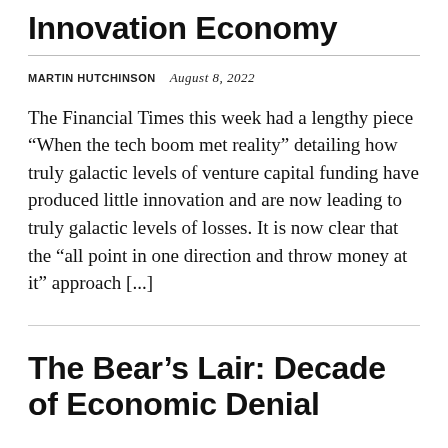Innovation Economy
MARTIN HUTCHINSON   August 8, 2022
The Financial Times this week had a lengthy piece “When the tech boom met reality” detailing how truly galactic levels of venture capital funding have produced little innovation and are now leading to truly galactic levels of losses. It is now clear that the “all point in one direction and throw money at it” approach [...]
The Bear’s Lair: Decade of Economic Denial